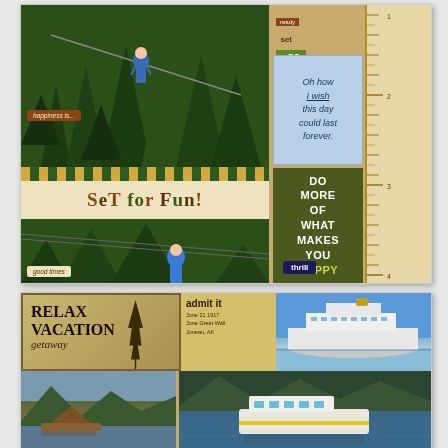[Figure (photo): Scrapbook page showing zipline/zip-lining photos through forest with decorative elements: 'happiness is...', 'SeT for Fun!', 'good times' text overlays, 'Oh how I wish this day could last forever.' blue box, 'DO MORE OF WHAT MAKES YOU HAPPY' olive green box, 'thrill' badge, ruler strip, 'ready set go' tags]
[Figure (photo): Scrapbook page showing cruise/vacation photos with 'RELAX VACATION getaway' vintage-style element, ship photos, nature/fjord photos, and boat photo]